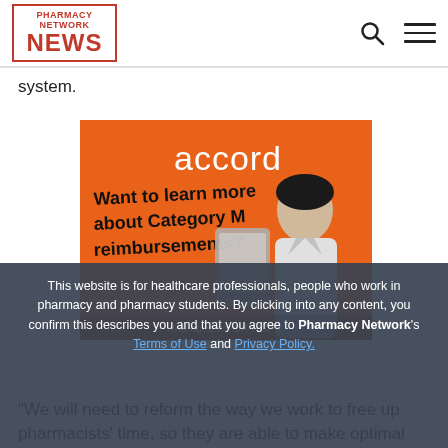Pharmacy Network News
system.
[Figure (illustration): Accord advertisement on orange background. Text reads 'accord' at top in white, then 'Want to learn more about Category M reimbursements?' in bold black. A woman in white coat holding a tablet is shown. Footer text: 'Intended for UK HCPs'.]
This website is for healthcare professionals, people who work in pharmacy and pharmacy students. By clicking into any content, you confirm this describes you and that you agree to Pharmacy Network's Terms of Use and Privacy Policy.
"We will need to reform the way we work to free up pharmacists' time, so they are able to make optimal